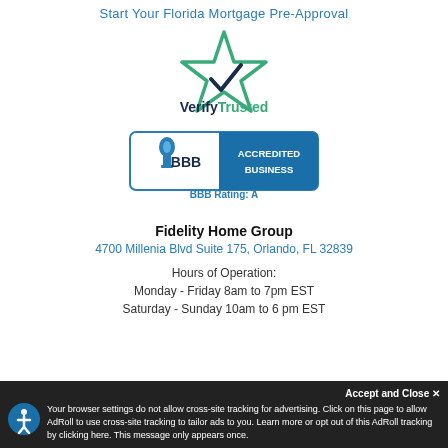Start Your Florida Mortgage Pre-Approval
[Figure (logo): VerifyTrusted logo with green star and checkmark]
[Figure (logo): BBB Accredited Business badge with rating A]
Fidelity Home Group
4700 Millenia Blvd Suite 175, Orlando, FL 32839
Hours of Operation:
Monday - Friday 8am to 7pm EST
Saturday - Sunday 10am to 6 pm EST
Accept and Close ✕
Your browser settings do not allow cross-site tracking for advertising. Click on this page to allow AdRoll to use cross-site tracking to tailor ads to you. Learn more or opt out of this AdRoll tracking by clicking here. This message only appears once.